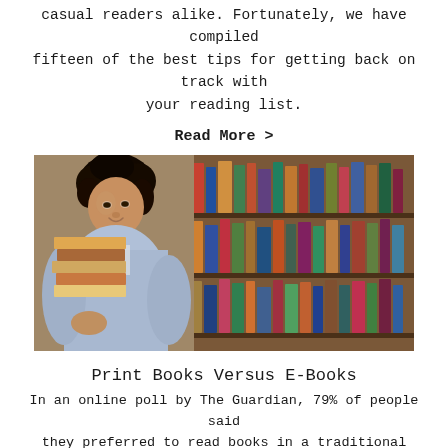casual readers alike. Fortunately, we have compiled fifteen of the best tips for getting back on track with your reading list.
Read More >
[Figure (photo): Young woman with curly hair holding a large stack of books, standing in a library with bookshelves full of books in the background.]
Print Books Versus E-Books
In an online poll by The Guardian, 79% of people said they preferred to read books in a traditional print form instead of reading an e-book. Though e-books have